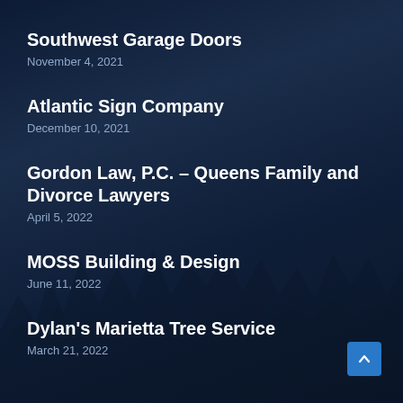Southwest Garage Doors
November 4, 2021
Atlantic Sign Company
December 10, 2021
Gordon Law, P.C. – Queens Family and Divorce Lawyers
April 5, 2022
MOSS Building & Design
June 11, 2022
Dylan's Marietta Tree Service
March 21, 2022